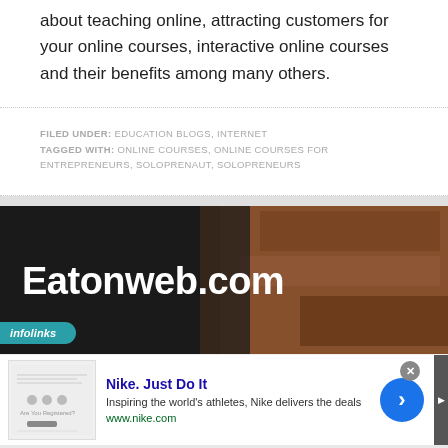about teaching online, attracting customers for your online courses, interactive online courses and their benefits among many others.
FILED UNDER: EDUCATION BLOGS, INTERNET
TAGGED WITH: ONLINE COURSES, ONLINE COURSES FOR ENTREPRENEURS, SOLOPRENAUT, SOLOPRENEURS
[Figure (other): Eatonweb.com banner advertisement with dark background and brown textured right side, infolinks badge at bottom left]
[Figure (other): Nike advertisement: 'Nike. Just Do It' with tagline 'Inspiring the world's athletes, Nike delivers the deals' and url www.nike.com, with close button and navigation arrow]